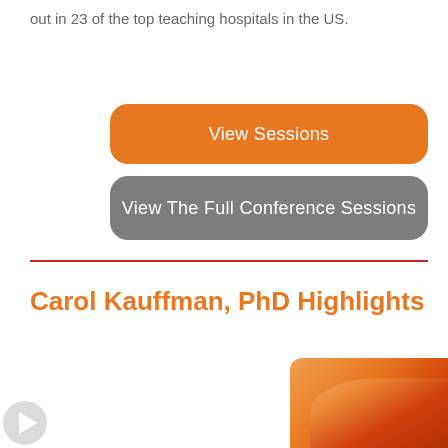out in 23 of the top teaching hospitals in the US.
View Sessions
View The Full Conference Sessions
Carol Kauffman, PhD Highlights
[Figure (photo): Thumbnail image with orange/red gradient abstract design, partial circular shape visible, with play button icon at bottom left]